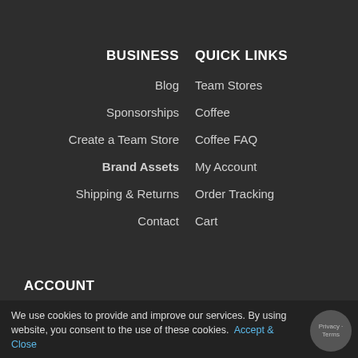BUSINESS
QUICK LINKS
Blog
Team Stores
Sponsorships
Coffee
Create a Team Store
Coffee FAQ
Brand Assets
My Account
Shipping & Returns
Order Tracking
Contact
Cart
ACCOUNT
Username
We use cookies to provide and improve our services. By using website, you consent to the use of these cookies. Accept & Close